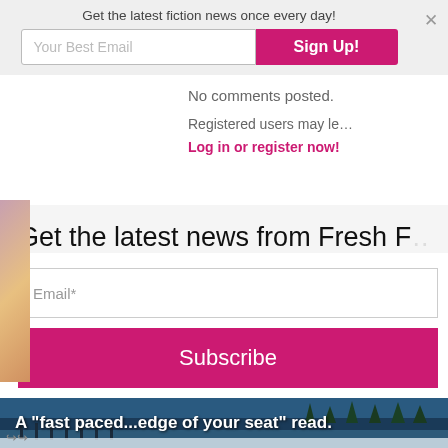Get the latest fiction news once every day!
Your Best Email
Sign Up!
No comments posted.
Registered users may le…
Log in or register now!
Get the latest news from Fresh F…
Email*
Subscribe
A "fast paced...edge of your seat" read.